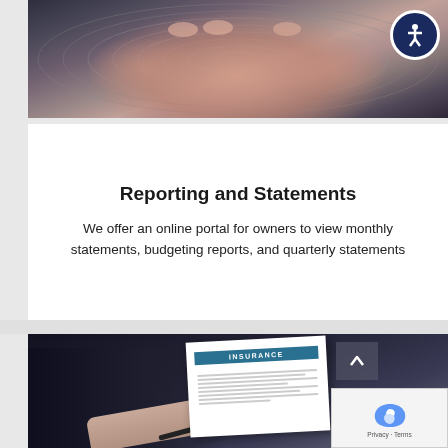[Figure (photo): Close-up photograph of clasped hands resting on a surface with concentric oval ridges/patterns in dark gray tones. An accessibility icon button (person in circle) appears in the top-right corner.]
Reporting and Statements
We offer an online portal for owners to view monthly statements, budgeting reports, and quarterly statements
[Figure (photo): Photograph of a person in dark clothing signing or reviewing an insurance document. A document labeled 'INSURANCE' in teal/blue is visible. A scroll-up arrow button and a reCAPTCHA box with 'Privacy · Terms' text appear overlaid.]